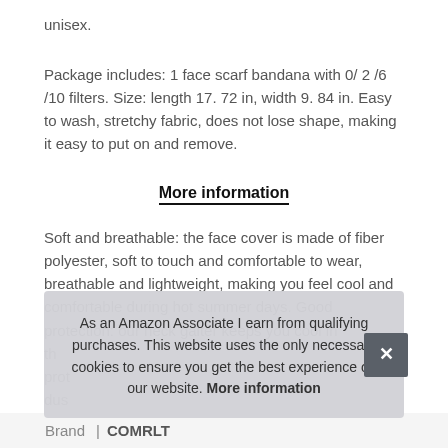unisex.
Package includes: 1 face scarf bandana with 0/ 2 /6 /10 filters. Size: length 17. 72 in, width 9. 84 in. Easy to wash, stretchy fabric, does not lose shape, making it easy to put on and remove.
More information
Soft and breathable: the face cover is made of fiber polyester, soft to touch and comfortable to wear, breathable and lightweight, making you feel cool and comfortable during hot summer days. Good protection: our neck gaiter keeps you cool in th... prot... dus...
As an Amazon Associate I earn from qualifying purchases. This website uses the only necessary cookies to ensure you get the best experience on our website. More information
| Brand | Value |
| --- | --- |
| Brand | COMRLT |